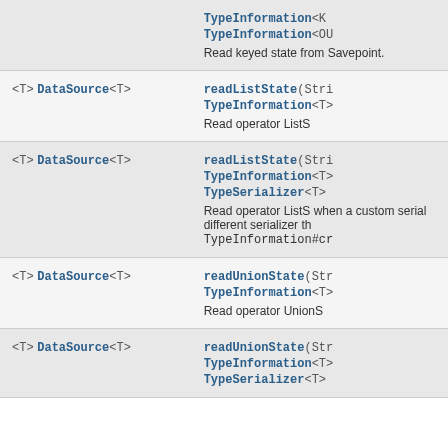| Return Type | Method / Description |
| --- | --- |
| <T> DataSource<T> | TypeInformation<K>
TypeInformation<OU
Read keyed state from Savepoint. |
| <T> DataSource<T> | readListState(Stri
TypeInformation<T>
Read operator ListS |
| <T> DataSource<T> | readListState(Stri
TypeInformation<T>
TypeSerializer<T>
Read operator ListS when a custom serial different serializer th TypeInformation#cr |
| <T> DataSource<T> | readUnionState(Str
TypeInformation<T>
Read operator UnionS |
| <T> DataSource<T> | readUnionState(Str
TypeInformation<T>
TypeSerializer<T> |